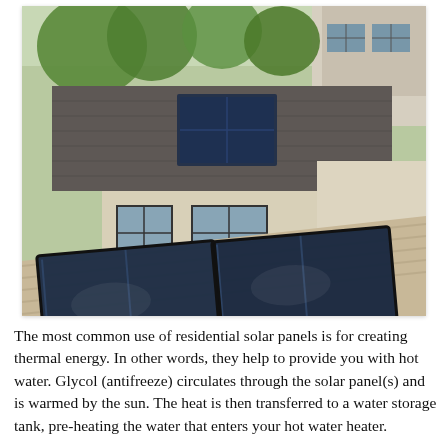[Figure (photo): Aerial photograph of residential house rooftop with solar thermal panel collectors installed. Shows two flat-plate solar collectors on a lower roof section and one smaller panel on an upper roof, surrounded by trees and neighboring homes.]
The most common use of residential solar panels is for creating thermal energy. In other words, they help to provide you with hot water. Glycol (antifreeze) circulates through the solar panel(s) and is warmed by the sun. The heat is then transferred to a water storage tank, pre-heating the water that enters your hot water heater.